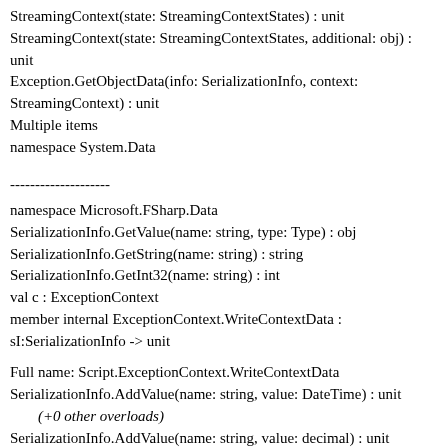StreamingContext(state: StreamingContextStates) : unit
StreamingContext(state: StreamingContextStates, additional: obj) : unit
Exception.GetObjectData(info: SerializationInfo, context: StreamingContext) : unit
Multiple items
namespace System.Data
--------------------
namespace Microsoft.FSharp.Data
SerializationInfo.GetValue(name: string, type: Type) : obj
SerializationInfo.GetString(name: string) : string
SerializationInfo.GetInt32(name: string) : int
val c : ExceptionContext
member internal ExceptionContext.WriteContextData : sI:SerializationInfo -> unit
Full name: Script.ExceptionContext.WriteContextData
SerializationInfo.AddValue(name: string, value: DateTime) : unit
    (+0 other overloads)
SerializationInfo.AddValue(name: string, value: decimal) : unit
    (+0 other overloads)
SerializationInfo.AddValue(name: string, value: float) : unit
    (+0 other overloads)
SerializationInfo.AddValue(name: string, value: float32) : unit